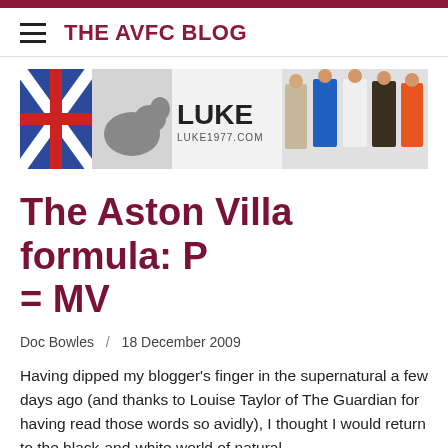THE AVFC BLOG
[Figure (photo): Luke 1977 clothing brand advertisement banner showing several male models wearing various outfits alongside the brand logo and website LUKE1977.COM]
The Aston Villa formula: P = MV
Doc Bowles / 18 December 2009
Having dipped my blogger's finger in the supernatural a few days ago (and thanks to Louise Taylor of The Guardian for having read those words so avidly), I thought I would return to the black-and-white world of natural